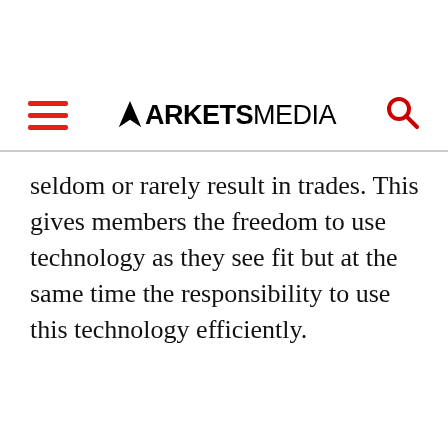MARKETS MEDIA
seldom or rarely result in trades. This gives members the freedom to use technology as they see fit but at the same time the responsibility to use this technology efficiently.
[Figure (infographic): Social share buttons: Facebook, Twitter, LinkedIn]
[Figure (infographic): Email subscription box with envelope icon]